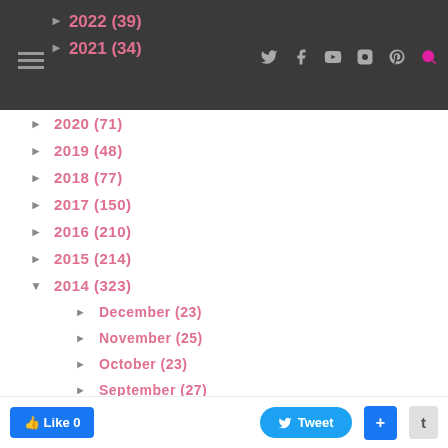Navigation bar with 2022 (39), 2021 (34) and social icons
► 2020 (71)
► 2019 (48)
► 2018 (77)
► 2017 (150)
► 2016 (210)
► 2015 (214)
▼ 2014 (323)
► December (23)
► November (25)
► October (23)
► September (27)
► August (22)
Like 0   Tweet   +   t